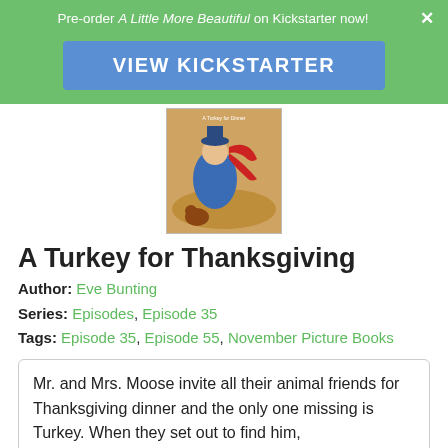Pre-order A Little More Beautiful on Kickstarter now!
VIEW KICKSTARTER
[Figure (illustration): Book cover illustration for A Turkey for Thanksgiving, showing a figure in a blue coat with a red ribbon against a warm autumn background]
A Turkey for Thanksgiving
Author: Eve Bunting
Series: Episodes, Episode 35
Tags: Episode 35, Episode 55, November Picture Books
Mr. and Mrs. Moose invite all their animal friends for Thanksgiving dinner and the only one missing is Turkey. When they set out to find him,